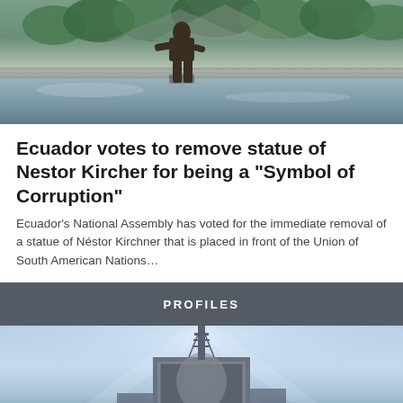[Figure (photo): Bronze statue of Nestor Kirchner walking, reflected in water with trees and mountains in background]
Ecuador votes to remove statue of Nestor Kircher for being a “Symbol of Corruption”
Ecuador’s National Assembly has voted for the immediate removal of a statue of Néstor Kirchner that is placed in front of the Union of South American Nations…
PROFILES
[Figure (photo): Building with a large portrait billboard and antenna tower against a blue sky with light rays]